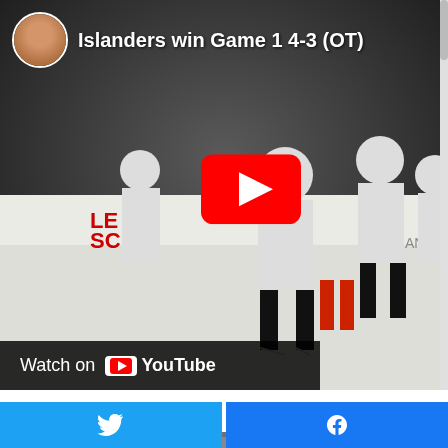[Figure (screenshot): YouTube embedded video showing hockey players on ice after a game, with title 'Islanders win Game 1 4-3 (OT)', a user avatar, YouTube play button overlay, and 'Watch on YouTube' bar at the bottom]
A fight:
[Figure (screenshot): Partial view of a second embedded video, cropped at bottom of page]